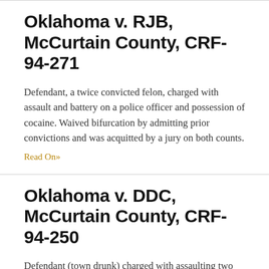Oklahoma v. RJB, McCurtain County, CRF-94-271
Defendant, a twice convicted felon, charged with assault and battery on a police officer and possession of cocaine. Waived bifurcation by admitting prior convictions and was acquitted by a jury on both counts.
Read On»
Oklahoma v. DDC, McCurtain County, CRF-94-250
Defendant (town drunk) charged with assaulting two